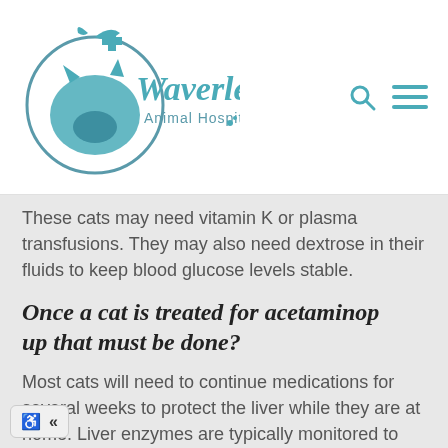[Figure (logo): Waverley Animal Hospital logo with teal cat and dog silhouettes inside a circular design, teal text reading Waverley Animal Hospital]
These cats may need vitamin K or plasma transfusions. They may also need dextrose in their fluids to keep blood glucose levels stable.
Once a cat is treated for acetaminop up that must be done?
Most cats will need to continue medications for several weeks to protect the liver while they are at home. Liver enzymes are typically monitored to assess for liver damage after the cat is sent home.